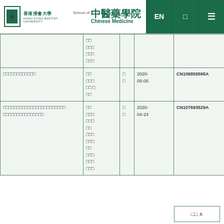[Figure (logo): Hong Kong Baptist University logo with School of Chinese Medicine branding and navigation buttons (EN, Chinese, Menu) in dark green]
| □□ | □□
□□□
□□□
□□□ | □
□
□·□
□ |  |  |
| □□□□□□□□□□□□ | □□
□□□
□□·□
□□ | □
□ | 2020-05-05 | CN106859595A |
| □□□□□□□□□□□□□□□□□□□□□□□□□□□□□□□□□□□□□□ | □□
□□□
□□□
□□
□□□
□□□
□□
□□□
□□□
□□□ | □
□ | 2020-04-24 | CN107693529A |